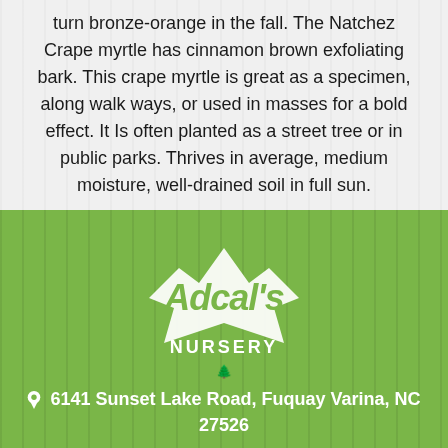turn bronze-orange in the fall. The Natchez Crape myrtle has cinnamon brown exfoliating bark. This crape myrtle is great as a specimen, along walk ways, or used in masses for a bold effect. It Is often planted as a street tree or in public parks. Thrives in average, medium moisture, well-drained soil in full sun.
[Figure (logo): Adcal's Nursery logo in white on green background — stylized script lettering with a star burst shape and a small tree/nursery figure beneath]
6141 Sunset Lake Road, Fuquay Varina, NC 27526